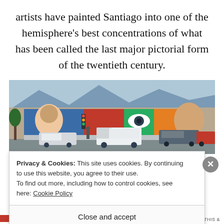artists have painted Santiago into one of the hemisphere’s best concentrations of what has been called the last major pictorial form of the twentieth century.
[Figure (photo): Wide panoramic street-level photo of a city block in Santiago covered in colorful murals and street art, with parked cars and a white van in the foreground.]
I love that the whole block seems to be covered in street art!
Privacy & Cookies: This site uses cookies. By continuing to use this website, you agree to their use.
To find out more, including how to control cookies, see here: Cookie Policy
Close and accept